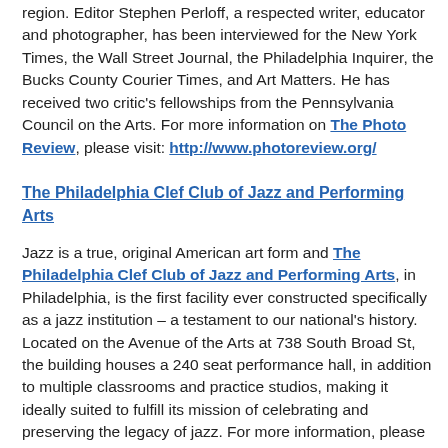region. Editor Stephen Perloff, a respected writer, educator and photographer, has been interviewed for the New York Times, the Wall Street Journal, the Philadelphia Inquirer, the Bucks County Courier Times, and Art Matters. He has received two critic's fellowships from the Pennsylvania Council on the Arts. For more information on The Photo Review, please visit: http://www.photoreview.org/
The Philadelphia Clef Club of Jazz and Performing Arts
Jazz is a true, original American art form and The Philadelphia Clef Club of Jazz and Performing Arts, in Philadelphia, is the first facility ever constructed specifically as a jazz institution – a testament to our national's history. Located on the Avenue of the Arts at 738 South Broad St, the building houses a 240 seat performance hall, in addition to multiple classrooms and practice studios, making it ideally suited to fulfill its mission of celebrating and preserving the legacy of jazz. For more information, please visit: